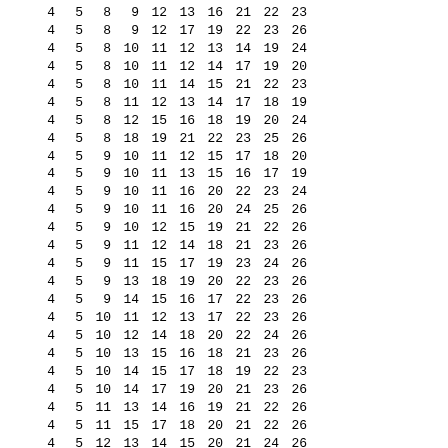| 4 | 5 | 8 | 9 | 12 | 13 | 16 | 21 | 22 | 23 |
| 4 | 5 | 8 | 9 | 12 | 17 | 19 | 22 | 23 | 26 |
| 4 | 5 | 8 | 10 | 11 | 12 | 13 | 14 | 19 | 24 |
| 4 | 5 | 8 | 10 | 11 | 12 | 14 | 17 | 19 | 20 |
| 4 | 5 | 8 | 10 | 11 | 14 | 15 | 21 | 22 | 23 |
| 4 | 5 | 8 | 11 | 12 | 13 | 14 | 17 | 18 | 19 |
| 4 | 5 | 8 | 12 | 15 | 16 | 18 | 19 | 20 | 24 |
| 4 | 5 | 8 | 18 | 19 | 21 | 22 | 23 | 25 | 26 |
| 4 | 5 | 9 | 10 | 11 | 12 | 15 | 17 | 18 | 20 |
| 4 | 5 | 9 | 10 | 11 | 13 | 15 | 16 | 17 | 19 |
| 4 | 5 | 9 | 10 | 11 | 16 | 20 | 22 | 23 | 24 |
| 4 | 5 | 9 | 10 | 11 | 16 | 20 | 24 | 25 | 26 |
| 4 | 5 | 9 | 10 | 12 | 15 | 19 | 21 | 22 | 26 |
| 4 | 5 | 9 | 11 | 12 | 14 | 18 | 21 | 23 | 26 |
| 4 | 5 | 9 | 11 | 15 | 17 | 19 | 23 | 24 | 26 |
| 4 | 5 | 9 | 13 | 18 | 19 | 20 | 22 | 23 | 26 |
| 4 | 5 | 9 | 14 | 15 | 16 | 17 | 22 | 23 | 26 |
| 4 | 5 | 10 | 11 | 12 | 13 | 17 | 22 | 23 | 26 |
| 4 | 5 | 10 | 12 | 14 | 18 | 20 | 22 | 24 | 26 |
| 4 | 5 | 10 | 13 | 15 | 16 | 18 | 21 | 23 | 26 |
| 4 | 5 | 10 | 14 | 15 | 17 | 18 | 19 | 22 | 23 |
| 4 | 5 | 10 | 14 | 17 | 19 | 20 | 21 | 23 | 26 |
| 4 | 5 | 11 | 13 | 14 | 16 | 19 | 21 | 22 | 26 |
| 4 | 5 | 11 | 15 | 17 | 18 | 20 | 21 | 22 | 26 |
| 4 | 5 | 12 | 13 | 14 | 15 | 20 | 21 | 24 | 26 |
| 4 | 5 | 12 | 13 | 14 | 15 | 20 | 22 | 23 | 24 |
| 4 | 5 | 12 | 16 | 17 | 18 | 19 | 22 | 23 | 24 |
| 4 | 5 | 12 | 16 | 17 | 18 | 19 | 24 | 25 | 26 |
| 4 | 6 | 7 | 8 | 9 | 10 | 11 | 12 | 17 | 20 |
| 4 | 6 | 7 | 8 | 9 | 13 | 14 | 16 | 18 | 24 |